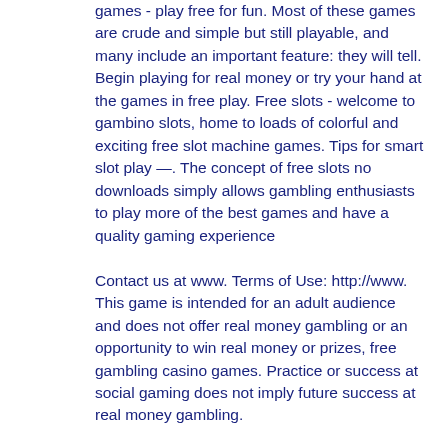games - play free for fun. Most of these games are crude and simple but still playable, and many include an important feature: they will tell. Begin playing for real money or try your hand at the games in free play. Free slots - welcome to gambino slots, home to loads of colorful and exciting free slot machine games. Tips for smart slot play —. The concept of free slots no downloads simply allows gambling enthusiasts to play more of the best games and have a quality gaming experience
Contact us at www. Terms of Use: http://www. This game is intended for an adult audience and does not offer real money gambling or an opportunity to win real money or prizes, free gambling casino games. Practice or success at social gaming does not imply future success at real money gambling.